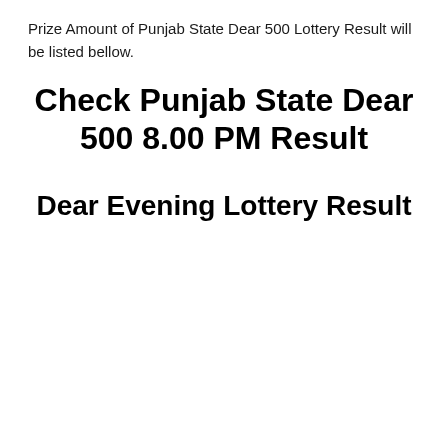Prize Amount of Punjab State Dear 500 Lottery Result will be listed bellow.
Check Punjab State Dear 500 8.00 PM Result
Dear Evening Lottery Result